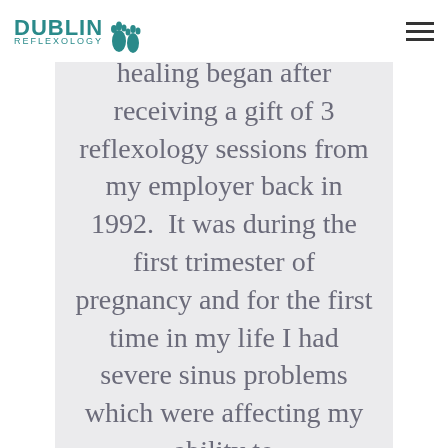DUBLIN REFLEXOLOGY
healing began after receiving a gift of 3 reflexology sessions from my employer back in 1992. It was during the first trimester of pregnancy and for the first time in my life I had severe sinus problems which were affecting my ability to